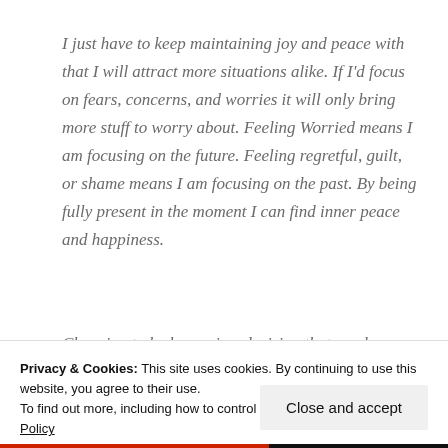I just have to keep maintaining joy and peace with that I will attract more situations alike. If I'd focus on fears, concerns, and worries it will only bring more stuff to worry about. Feeling Worried means I am focusing on the future. Feeling regretful, guilt, or shame means I am focusing on the past. By being fully present in the moment I can find inner peace and happiness.
Choosing to be happy is a decision that can be made at
Privacy & Cookies: This site uses cookies. By continuing to use this website, you agree to their use.
To find out more, including how to control cookies, see here: Cookie Policy